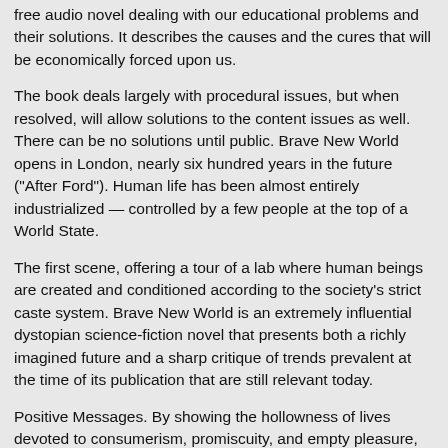free audio novel dealing with our educational problems and their solutions. It describes the causes and the cures that will be economically forced upon us.
The book deals largely with procedural issues, but when resolved, will allow solutions to the content issues as well. There can be no solutions until public. Brave New World opens in London, nearly six hundred years in the future ("After Ford"). Human life has been almost entirely industrialized — controlled by a few people at the top of a World State.
The first scene, offering a tour of a lab where human beings are created and conditioned according to the society's strict caste system. Brave New World is an extremely influential dystopian science-fiction novel that presents both a richly imagined future and a sharp critique of trends prevalent at the time of its publication that are still relevant today.
Positive Messages. By showing the hollowness of lives devoted to consumerism, promiscuity, and empty pleasure, Huxley 5/5. A Banned Book.
Given the rather risqué subject matter, it's no surprise that Brave New World is among the most banned books of the past hundred years. Ever since its publication in. Women in Brave New World Goal: Students will examine how the societal rules